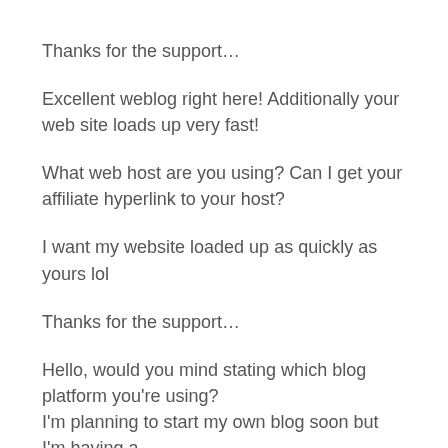Thanks for the support…
Excellent weblog right here! Additionally your web site loads up very fast!
What web host are you using? Can I get your affiliate hyperlink to your host?
I want my website loaded up as quickly as yours lol
Thanks for the support…
Hello, would you mind stating which blog platform you're using?
I'm planning to start my own blog soon but I'm having a